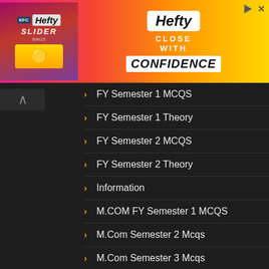[Figure (photo): Hefty Slider Bags advertisement banner with pink/orange/yellow gradient background, Hefty logo on left side with slider bag image, and 'Hefty CLOSE WITH CONFIDENCE' text on right]
FY Semester 1 MCQS
FY Semester 1 Theory
FY Semester 2 MCQS
FY Semester 2 Theory
Information
M.COM FY Semester 1 MCQS
M.Com Semester 2 Mcqs
M.Com Semester 3 Mcqs
MCQS
Online FY Te...